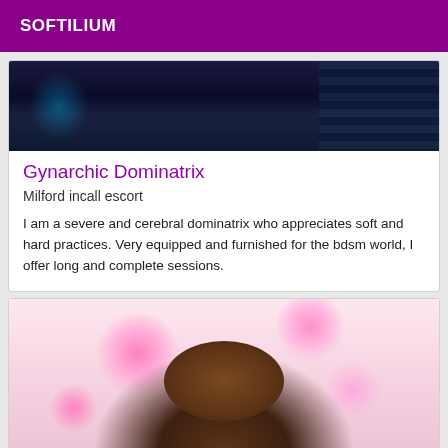SOFTILIUM
[Figure (photo): Dark background photo, appears to show a person in dark clothing against dark blue/black striped background]
Gynarchic Dominatrix
Milford incall escort
I am a severe and cerebral dominatrix who appreciates soft and hard practices. Very equipped and furnished for the bdsm world, I offer long and complete sessions.
[Figure (photo): Photo of a person with curly hair surrounded by pink heart emojis/decorations on a light pink background]